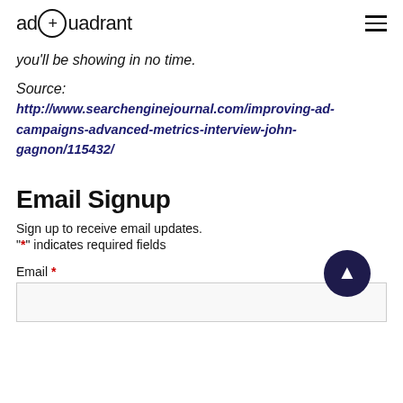adQuadrant
you'll be showing in no time.
Source:
http://www.searchenginejournal.com/improving-ad-campaigns-advanced-metrics-interview-john-gagnon/115432/
Email Signup
Sign up to receive email updates.
"*" indicates required fields
Email *